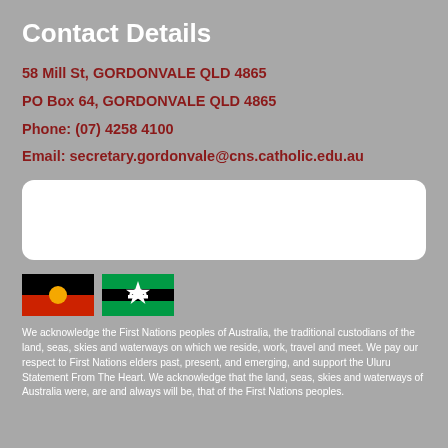Contact Details
58 Mill St, GORDONVALE QLD 4865
PO Box 64, GORDONVALE QLD 4865
Phone: (07) 4258 4100
Email: secretary.gordonvale@cns.catholic.edu.au
[Figure (other): White rounded rectangle box (empty/placeholder)]
[Figure (illustration): Australian Aboriginal flag and Torres Strait Islander flag side by side]
We acknowledge the First Nations peoples of Australia, the traditional custodians of the land, seas, skies and waterways on which we reside, work, travel and meet. We pay our respect to First Nations elders past, present, and emerging, and support the Uluru Statement From The Heart. We acknowledge that the land, seas, skies and waterways of Australia were, are and always will be, that of the First Nations peoples.